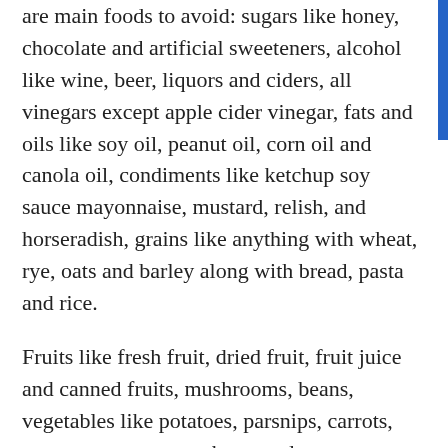are main foods to avoid: sugars like honey, chocolate and artificial sweeteners, alcohol like wine, beer, liquors and ciders, all vinegars except apple cider vinegar, fats and oils like soy oil, peanut oil, corn oil and canola oil, condiments like ketchup soy sauce mayonnaise, mustard, relish, and horseradish, grains like anything with wheat, rye, oats and barley along with bread, pasta and rice.
Fruits like fresh fruit, dried fruit, fruit juice and canned fruits, mushrooms, beans, vegetables like potatoes, parsnips, carrots, peas, sweet potatoes, beets and yams,